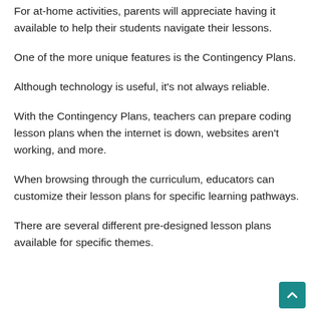For at-home activities, parents will appreciate having it available to help their students navigate their lessons.
One of the more unique features is the Contingency Plans.
Although technology is useful, it's not always reliable.
With the Contingency Plans, teachers can prepare coding lesson plans when the internet is down, websites aren't working, and more.
When browsing through the curriculum, educators can customize their lesson plans for specific learning pathways.
There are several different pre-designed lesson plans available for specific themes.